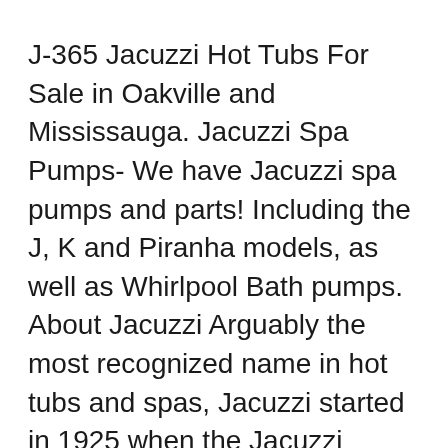J-365 Jacuzzi Hot Tubs For Sale in Oakville and Mississauga. Jacuzzi Spa Pumps- We have Jacuzzi spa pumps and parts! Including the J, K and Piranha models, as well as Whirlpool Bath pumps. About Jacuzzi Arguably the most recognized name in hot tubs and spas, Jacuzzi started in 1925 when the Jacuzzi brothers invented the first submersible pump for the agricultural industry. In 1952, the J-300 became the, Jacuzzi Hot Tubs & Sundance Spas 240v Heater 6500-402 100% OEM Heater. Not aftermarket or generic. 240v heater for hot tubs with LED spa packs and controls. This includes the following Jacuzzi J-300 S-LpT l